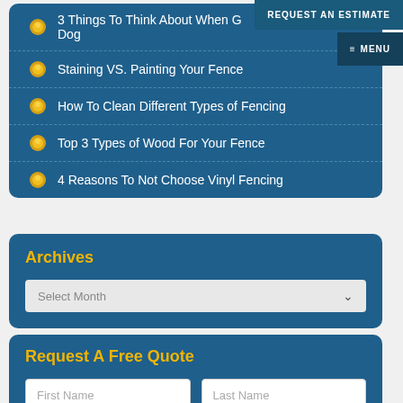REQUEST AN ESTIMATE
≡ MENU
3 Things To Think About When G... Your Big Dog
Staining VS. Painting Your Fence
How To Clean Different Types of Fencing
Top 3 Types of Wood For Your Fence
4 Reasons To Not Choose Vinyl Fencing
Archives
Select Month
Request A Free Quote
First Name
Last Name